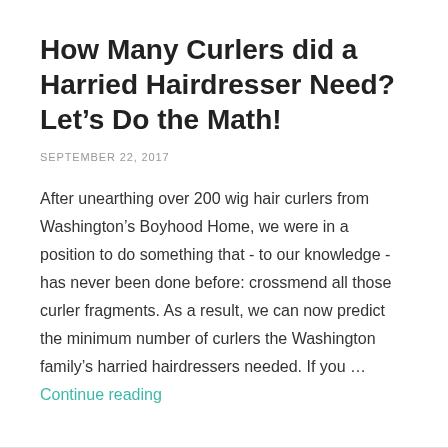How Many Curlers did a Harried Hairdresser Need? Let’s Do the Math!
SEPTEMBER 22, 2017
After unearthing over 200 wig hair curlers from Washington’s Boyhood Home, we were in a position to do something that - to our knowledge - has never been done before: crossmend all those curler fragments. As a result, we can now predict the minimum number of curlers the Washington family’s harried hairdressers needed. If you … Continue reading